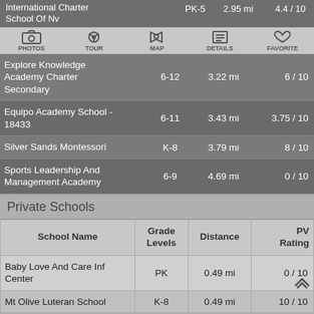| School Name | Grade Levels | Distance | PV Rating |
| --- | --- | --- | --- |
| International Charter School Of Nv | PK-5 | 2.95 mi | 4.4 / 10 |
| Explore Knowledge Academy Charter Secondary | 6-12 | 3.22 mi | 6 / 10 |
| Equipo Academy School - 18433 | 6-11 | 3.43 mi | 3.75 / 10 |
| Silver Sands Montessori | K-8 | 3.79 mi | 8 / 10 |
| Sports Leadership And Management Academy | 6-9 | 4.69 mi | 0 / 10 |
Private Schools
| School Name | Grade Levels | Distance | PV Rating |
| --- | --- | --- | --- |
| Baby Love And Care Inf Center | PK | 0.49 mi | 0 / 10 |
| Mt Olive Luteran School | K-8 | 0.49 mi | 10 / 10 |